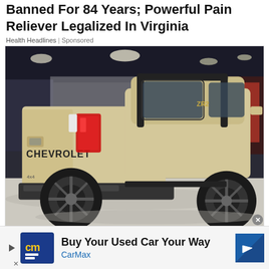Banned For 84 Years; Powerful Pain Reliever Legalized In Virginia
Health Headlines | Sponsored
[Figure (photo): Rear three-quarter view of a tan/beige Chevrolet Colorado ZR2 pickup truck with black wheels and roll bar, displayed at an auto show on a light concrete floor with exhibition booths in the background.]
Buy Your Used Car Your Way
CarMax